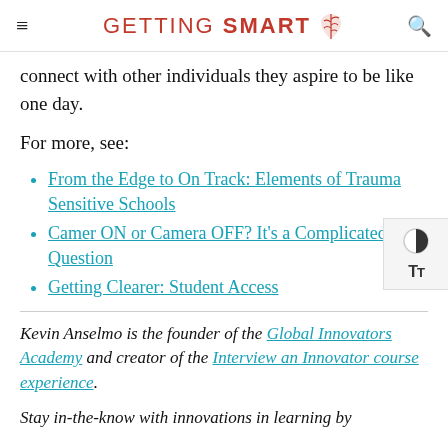GETTING SMART
connect with other individuals they aspire to be like one day.
For more, see:
From the Edge to On Track: Elements of Trauma Sensitive Schools
Camer ON or Camera OFF? It's a Complicated Question
Getting Clearer: Student Access
Kevin Anselmo is the founder of the Global Innovators Academy and creator of the Interview an Innovator course experience.
Stay in-the-know with innovations in learning by